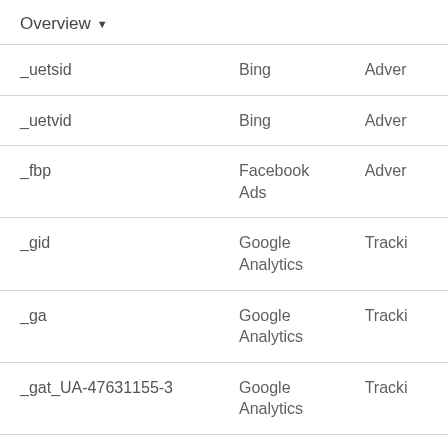Overview ▼
| Cookie name | Provider | Type |
| --- | --- | --- |
| _uetsid | Bing | Adver... |
| _uetvid | Bing | Adver... |
| _fbp | Facebook Ads | Adver... |
| _gid | Google Analytics | Tracki... |
| _ga | Google Analytics | Tracki... |
| _gat_UA-47631155-3 | Google Analytics | Tracki... |
| _ga_V0XZL7QHEB | Google | Tracki... |